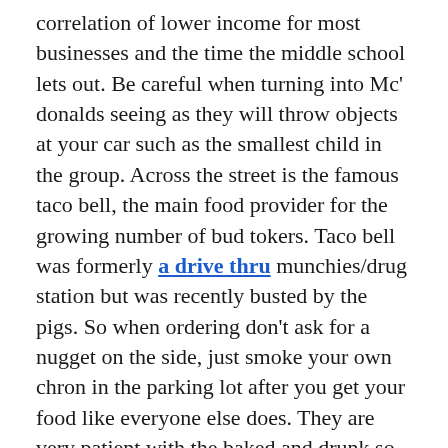correlation of lower income for most businesses and the time the middle school lets out. Be careful when turning into Mc' donalds seeing as they will throw objects at your car such as the smallest child in the group. Across the street is the famous taco bell, the main food provider for the growing number of bud tokers. Taco bell was formerly a drive thru munchies/drug station but was recently busted by the pigs. So when ordering don't ask for a nugget on the side, just smoke your own chron in the parking lot after you get your food like everyone else does. They are very patient with the baked and drunk so take your time ordering... make sure you ask for your change. Be careful when pooling out seeing as the person next to you has hindered reaction times.